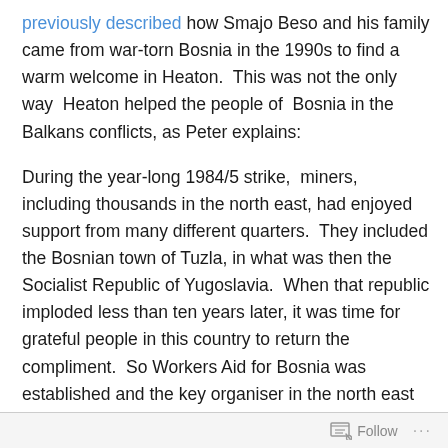previously described how Smajo Beso and his family came from war-torn Bosnia in the 1990s to find a warm welcome in Heaton.  This was not the only way  Heaton helped the people of  Bosnia in the Balkans conflicts, as Peter explains:

During the year-long 1984/5 strike,  miners, including thousands in the north east, had enjoyed support from many different quarters.  They included the Bosnian town of Tuzla, in what was then the Socialist Republic of Yugoslavia.  When that republic imploded less than ten years later, it was time for grateful people in this country to return the compliment.  So Workers Aid for Bosnia was established and the key organiser in the north east was a man who lived in Heaton: Tony Parker.
Follow ···